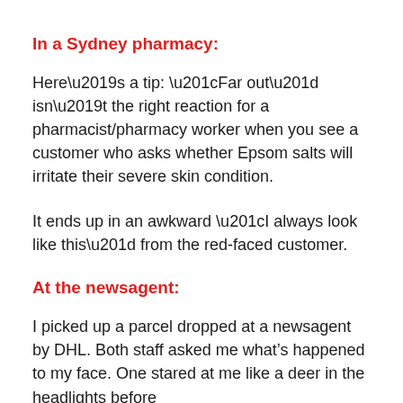In a Sydney pharmacy:
Here’s a tip: “Far out” isn’t the right reaction for a pharmacist/pharmacy worker when you see a customer who asks whether Epsom salts will irritate their severe skin condition.
It ends up in an awkward “I always look like this” from the red-faced customer.
At the newsagent:
I picked up a parcel dropped at a newsagent by DHL. Both staff asked me what’s happened to my face. One stared at me like a deer in the headlights before